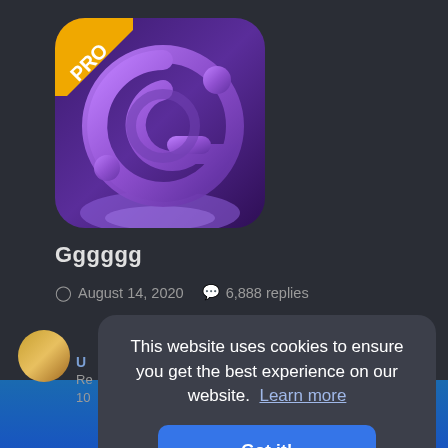[Figure (logo): App icon with purple G logo on dark purple rounded square background, with PRO badge in top-left corner]
Gggggg
August 14, 2020   6,888 replies
[Figure (screenshot): Cookie consent overlay popup with text: This website uses cookies to ensure you get the best experience on our website. Learn more — and a Got it! button]
This website uses cookies to ensure you get the best experience on our website.  Learn more
Got it!